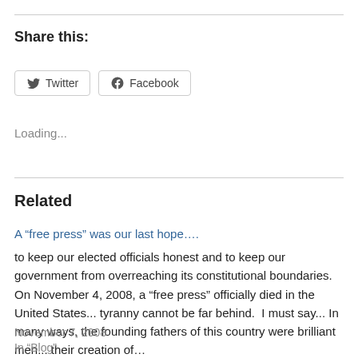Share this:
[Figure (other): Twitter and Facebook share buttons]
Loading...
Related
A “free press” was our last hope….
to keep our elected officials honest and to keep our government from overreaching its constitutional boundaries.  On November 4, 2008, a "free press" officially died in the United States... tyranny cannot be far behind.  I must say... In many ways, the founding fathers of this country were brilliant men... their creation of…
November 7, 2008
In "Blog"